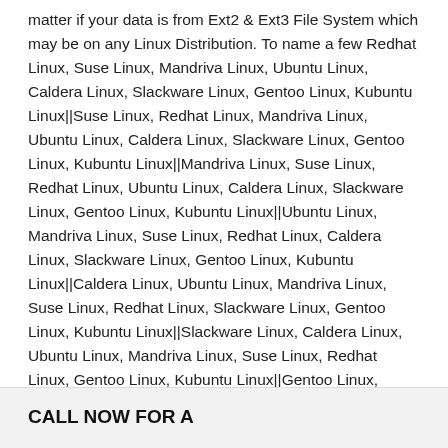matter if your data is from Ext2 & Ext3 File System which may be on any Linux Distribution. To name a few Redhat Linux, Suse Linux, Mandriva Linux, Ubuntu Linux, Caldera Linux, Slackware Linux, Gentoo Linux, Kubuntu Linux||Suse Linux, Redhat Linux, Mandriva Linux, Ubuntu Linux, Caldera Linux, Slackware Linux, Gentoo Linux, Kubuntu Linux||Mandriva Linux, Suse Linux, Redhat Linux, Ubuntu Linux, Caldera Linux, Slackware Linux, Gentoo Linux, Kubuntu Linux||Ubuntu Linux, Mandriva Linux, Suse Linux, Redhat Linux, Caldera Linux, Slackware Linux, Gentoo Linux, Kubuntu Linux||Caldera Linux, Ubuntu Linux, Mandriva Linux, Suse Linux, Redhat Linux, Slackware Linux, Gentoo Linux, Kubuntu Linux||Slackware Linux, Caldera Linux, Ubuntu Linux, Mandriva Linux, Suse Linux, Redhat Linux, Gentoo Linux, Kubuntu Linux||Gentoo Linux, Slackware Linux, Caldera Linux, Ubuntu Linux, Mandriva Linux, Suse Linux, Redhat Linux, Kubuntu Linux||Kubunt
CALL NOW FOR A